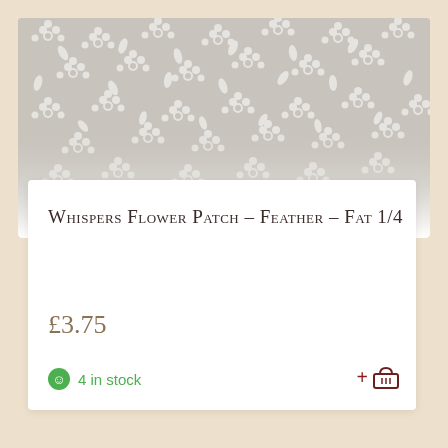[Figure (illustration): Floral pattern banner with white flowers and leaves on a gray/beige background]
Whispers Flower Patch – Feather – Fat 1/4
£3.75
4 in stock
+ 🧺